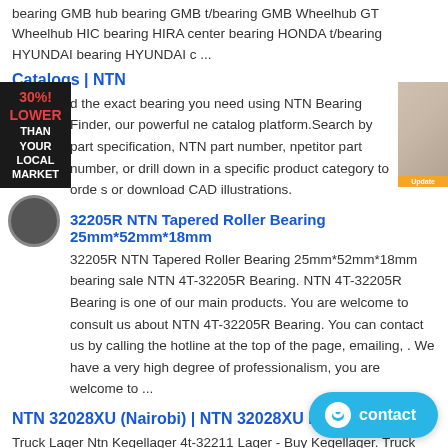bearing GMB hub bearing GMB t/bearing GMB Wheelhub GT Wheelhub HIC bearing HIRA center bearing HONDA t/bearing HYUNDAI bearing HYUNDAI c ...
Catalogs | NTN
d the exact bearing you need using NTN Bearing Finder, our powerful ne catalog platform.Search by part specification, NTN part number, npetitor part number, or drill down in a specific product category to orde s or download CAD illustrations.
32205R NTN Tapered Roller Bearing 25mm*52mm*18mm
32205R NTN Tapered Roller Bearing 25mm*52mm*18mm bearing sale NTN 4T-32205R Bearing. NTN 4T-32205R Bearing is one of our main products. You are welcome to consult us about NTN 4T-32205R Bearing. You can contact us by calling the hotline at the top of the page, emailing, . We have a very high degree of professionalism, you are welcome to ...
NTN 32028XU (Nairobi) | NTN 32028XU Bearing
Truck Lager Ntn Kegellager 4t-32211 Lager - Buy Kegellager. Truck Lager Ntn Kegellager 4t-32211 Lager , Find Complete Details about Truck Lager Ntn Kegellager 4t-32211 Lager,Kegellager 4t-32211,Kegellager Taper Roller Bearing Supplier or Manufacturer-Shanghai S Co., Ltd.
[Figure (other): 30% LOWER THAN YOUR LOCAL MARKET ad banner on left side]
[Figure (photo): Person photo with update button on right side]
[Figure (other): Blue contact button at bottom right]